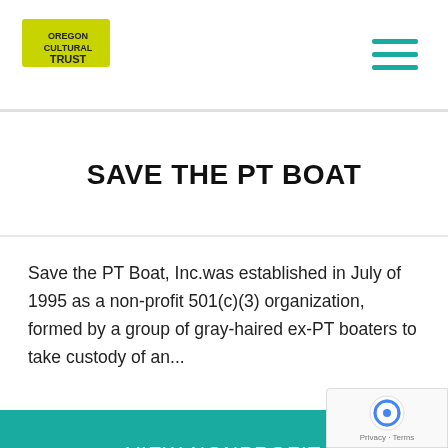Oregon Cultural Trust logo and navigation menu
SAVE THE PT BOAT
Save the PT Boat, Inc.was established in July of 1995 as a non-profit 501(c)(3) organization, formed by a group of gray-haired ex-PT boaters to take custody of an...
VIEW NONPROFIT
[Figure (logo): reCAPTCHA privacy badge with Privacy - Terms text]